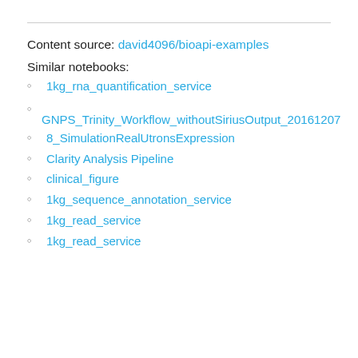Content source: david4096/bioapi-examples
Similar notebooks:
1kg_rna_quantification_service
GNPS_Trinity_Workflow_withoutSiriusOutput_20161207
8_SimulationRealUtronsExpression
Clarity Analysis Pipeline
clinical_figure
1kg_sequence_annotation_service
1kg_read_service
1kg_read_service